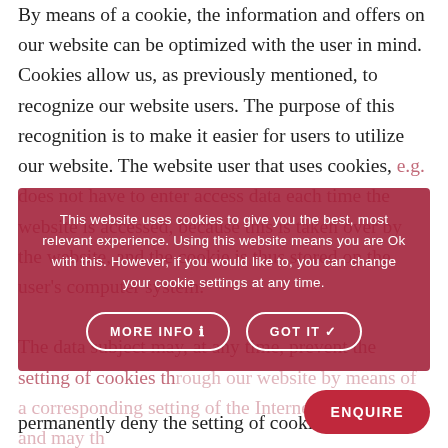By means of a cookie, the information and offers on our website can be optimized with the user in mind. Cookies allow us, as previously mentioned, to recognize our website users. The purpose of this recognition is to make it easier for users to utilize our website. The website user that uses cookies, e.g. does not have to enter access data each time the website is accessed, because this is taken over by the website, and the cookie is thus stored on the user's computer system.

The data subject may, at any time, prevent the setting of cookies through our website by means of a corresponding setting of the Internet browser used, and may thus permanently deny the setting of cookies.
This website uses cookies to give you the best, most relevant experience. Using this website means you are Ok with this. However, if you would like to, you can change your cookie settings at any time.
MORE INFO ℹ
GOT IT ✓
Enquire